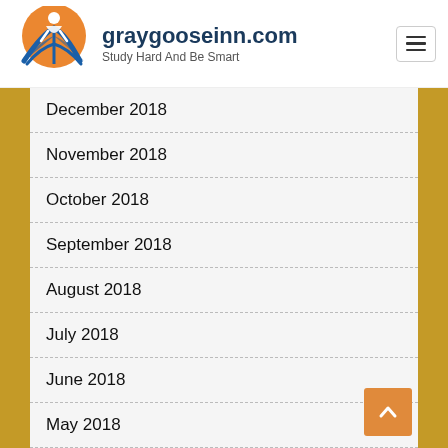[Figure (logo): Gray Goose Inn logo with stylized figure and open book, orange and blue colors]
graygooseinn.com
Study Hard And Be Smart
December 2018
November 2018
October 2018
September 2018
August 2018
July 2018
June 2018
May 2018
April 2018